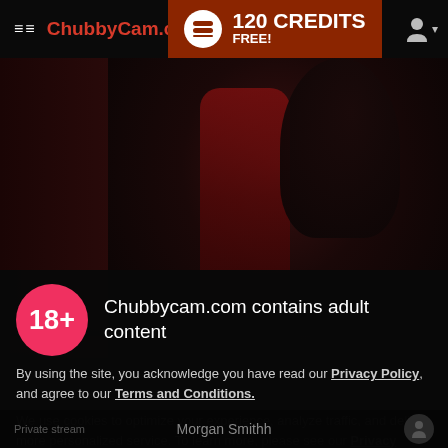≡≡ ChubbyCam.com  |  120 CREDITS FREE!
[Figure (screenshot): Background webcam stream screenshot showing a woman in a red dress against a dark background]
Chubbycam.com contains adult content
By using the site, you acknowledge you have read our Privacy Policy, and agree to our Terms and Conditions.
We use cookies to optimize your experience, analyze traffic, and deliver more personalized service. To learn more, please see our Privacy Policy.
I AGREE
Morgan Smithh